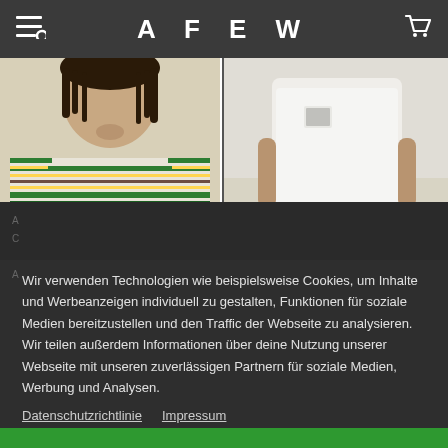AFEW
[Figure (photo): Man wearing a cream/off-white striped t-shirt with green, yellow, and brown horizontal stripes, close-up torso and face shot]
[Figure (photo): Man in white t-shirt with small chest pocket graphic, wearing khaki pants, torso/lower body shot against light wall]
Wir verwenden Technologien wie beispielsweise Cookies, um Inhalte und Werbeanzeigen individuell zu gestalten, Funktionen für soziale Medien bereitzustellen und den Traffic der Webseite zu analysieren. Wir teilen außerdem Informationen über deine Nutzung unserer Webseite mit unseren zuverlässigen Partnern für soziale Medien, Werbung und Analysen.
Datenschutzrichtlinie   Impressum